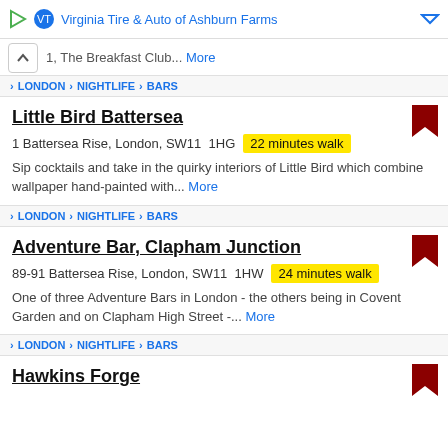Virginia Tire & Auto of Ashburn Farms
1, The Breakfast Club... More
› LONDON › NIGHTLIFE › BARS
Little Bird Battersea
1 Battersea Rise, London, SW11  1HG  22 minutes walk
Sip cocktails and take in the quirky interiors of Little Bird which combine wallpaper hand-painted with... More
› LONDON › NIGHTLIFE › BARS
Adventure Bar, Clapham Junction
89-91 Battersea Rise, London, SW11  1HW  24 minutes walk
One of three Adventure Bars in London - the others being in Covent Garden and on Clapham High Street -... More
› LONDON › NIGHTLIFE › BARS
Hawkins Forge